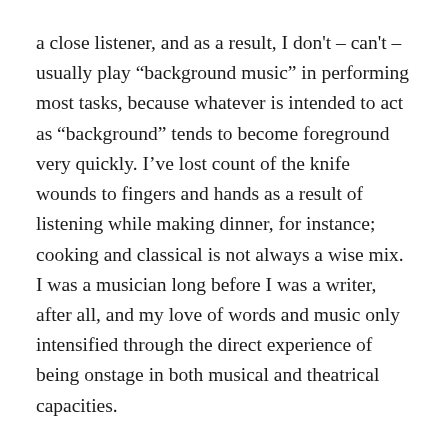a close listener, and as a result, I don't – can't – usually play “background music” in performing most tasks, because whatever is intended to act as “background” tends to become foreground very quickly. I’ve lost count of the knife wounds to fingers and hands as a result of listening while making dinner, for instance; cooking and classical is not always a wise mix. I was a musician long before I was a writer, after all, and my love of words and music only intensified through the direct experience of being onstage in both musical and theatrical capacities.
Such elements doubtlessly have fuelled my love of lieder, an art form which demands close listening, and one I’ve written about in the past. Made famous by